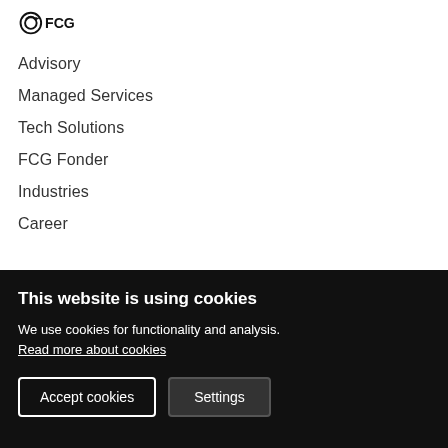[Figure (logo): FCG logo with circular icon and text FCG]
Advisory
Managed Services
Tech Solutions
FCG Fonder
Industries
Career
This website is using cookies
We use cookies for functionality and analysis.
Read more about cookies
Accept cookies  Settings